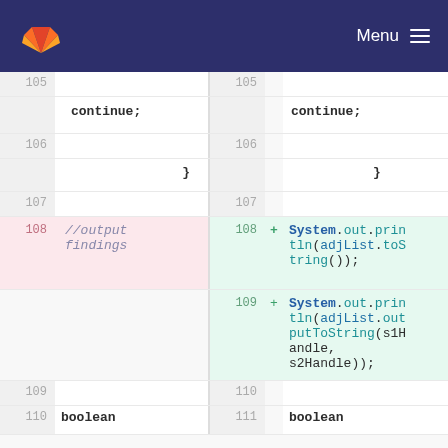GitLab — Menu
Code diff view showing lines 105-111, with deleted line 108 containing '//output findings' comment and added lines 108-109 containing System.out.println calls for adjList.toString() and adjList.outputToString(s1Handle, s2Handle)
105: continue; | 106: } | 107: (blank) | 108-: //output findings | 108+: System.out.println(adjList.toString()); | 109+: System.out.println(adjList.outputToString(s1Handle, s2Handle)); | 109/110: (blank) | 110/111: boolean